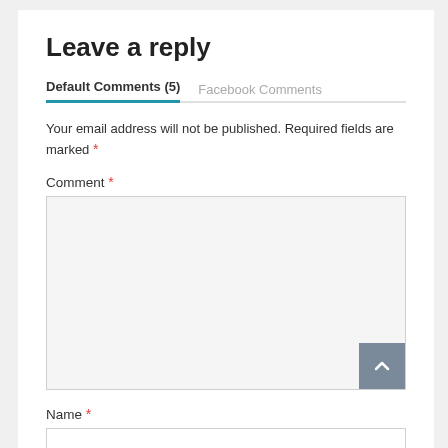Leave a reply
Default Comments (5)   Facebook Comments
Your email address will not be published. Required fields are marked *
Comment *
[Figure (screenshot): Large comment textarea input box with a scroll-to-top button at bottom right]
Name *
[Figure (screenshot): Name text input field, empty]